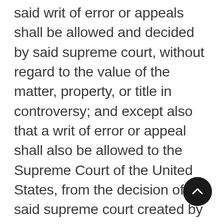said writ of error or appeals shall be allowed and decided by said supreme court, without regard to the value of the matter, property, or title in controversy; and except also that a writ of error or appeal shall also be allowed to the Supreme Court of the United States, from the decision of the said supreme court created by this act, or of any judge thereof, or of the district courts created by this act, or of any judge thereof, upon any writ of habeas corpus, involving the question of personal freedom: Provided, That nothing herein contained shall be construed to apply to or affect the provisions of the “act respecting fugitives from justice, and persons escaping from the service of their masters,” approved